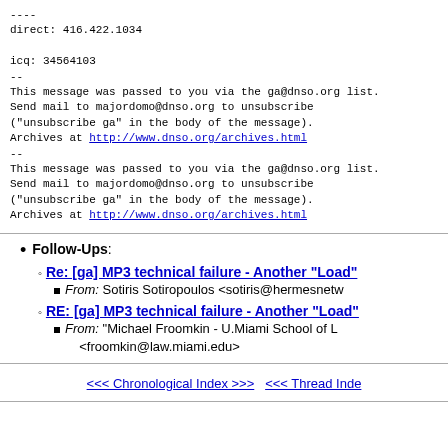----
direct: 416.422.1034

icq: 34564103
--
This message was passed to you via the ga@dnso.org list.
Send mail to majordomo@dnso.org to unsubscribe
("unsubscribe ga" in the body of the message).
Archives at http://www.dnso.org/archives.html
--
This message was passed to you via the ga@dnso.org list.
Send mail to majordomo@dnso.org to unsubscribe
("unsubscribe ga" in the body of the message).
Archives at http://www.dnso.org/archives.html
Follow-Ups: Re: [ga] MP3 technical failure - Another "Load" — From: Sotiris Sotiropoulos <sotiris@hermesnetw...>
RE: [ga] MP3 technical failure - Another "Load" — From: "Michael Froomkin - U.Miami School of L..." <froomkin@law.miami.edu>
<<< Chronological Index >>>    <<< Thread Inde